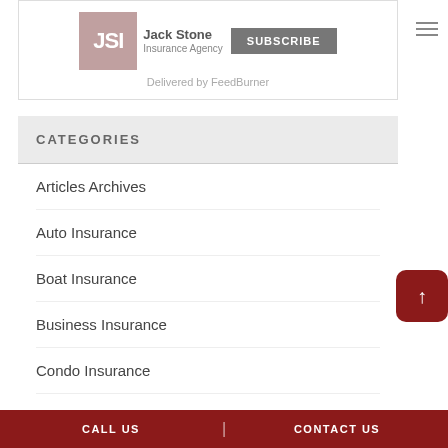[Figure (logo): JSI Jack Stone Insurance Agency logo with subscribe button and Delivered by FeedBurner text]
CATEGORIES
Articles Archives
Auto Insurance
Boat Insurance
Business Insurance
Condo Insurance
Condo Insurance
CALL US | CONTACT US